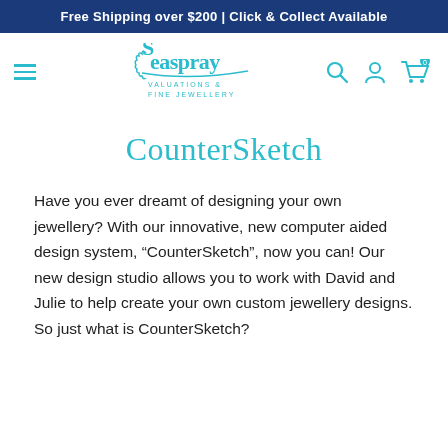Free Shipping over $200 | Click & Collect Available
[Figure (logo): Seaspray Valuations & Fine Jewellery logo with teal cursive text and seahorse motif]
CounterSketch
Have you ever dreamt of designing your own jewellery? With our innovative, new computer aided design system, “CounterSketch”, now you can! Our new design studio allows you to work with David and Julie to help create your own custom jewellery designs. So just what is CounterSketch?